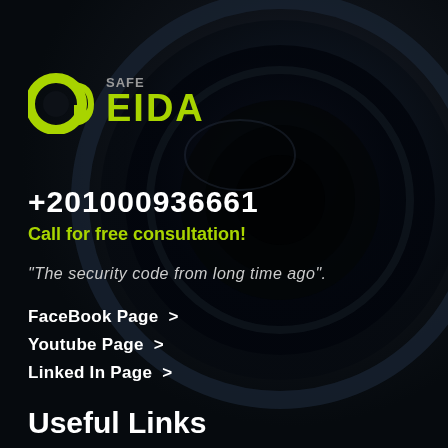[Figure (logo): OG Safe Geida logo with green OG letterform icon and text SAFE above GEIDA in green]
+201000936661
Call for free consultation!
"The security code from long time ago".
FaceBook Page >
Youtube Page >
Linked In Page >
Useful Links